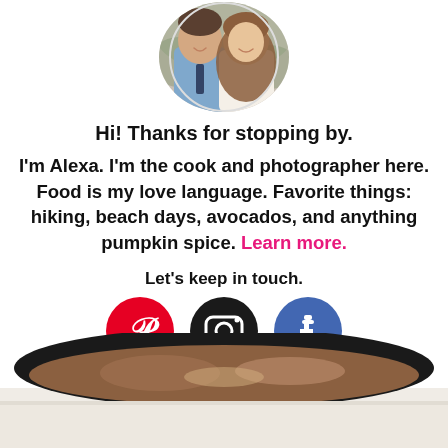[Figure (photo): Circular profile photo of a smiling couple — a man in a blue shirt and a woman with long brown hair]
Hi! Thanks for stopping by.
I'm Alexa. I'm the cook and photographer here. Food is my love language. Favorite things: hiking, beach days, avocados, and anything pumpkin spice. Learn more.
Let's keep in touch.
[Figure (other): Three social media icon buttons: Pinterest (red circle with P logo), Instagram (dark circle with camera logo), Facebook (blue circle with f logo)]
[Figure (photo): Partial photo of a dark pot or bowl with food, blurred at edges — bottom of page]